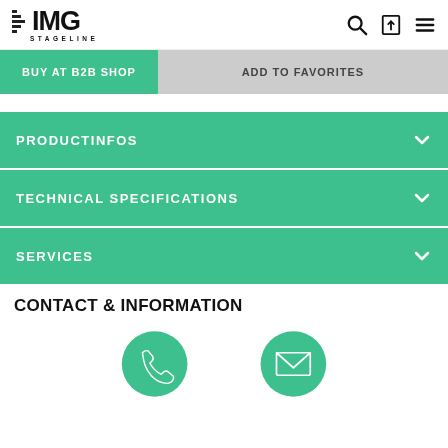IMG STAGELINE
BUY AT B2B SHOP | ADD TO FAVORITES
PRODUCTINFOS
TECHNICAL SPECIFICATIONS
SERVICES
CONTACT & INFORMATION
[Figure (illustration): Two circular teal buttons: a phone icon and an email envelope icon]